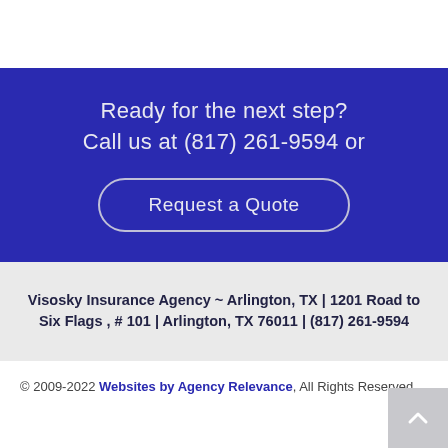Ready for the next step?
Call us at (817) 261-9594 or
Request a Quote
Visosky Insurance Agency ~ Arlington, TX | 1201 Road to Six Flags , # 101 | Arlington, TX 76011 | (817) 261-9594
© 2009-2022 Websites by Agency Relevance, All Rights Reserved